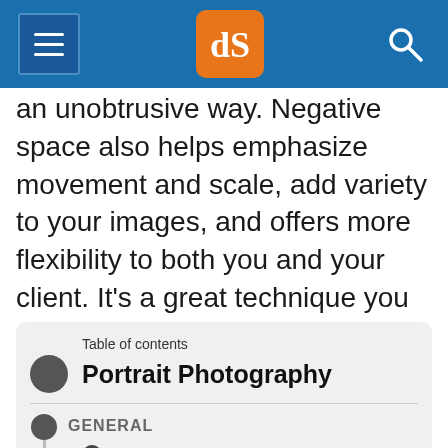[Figure (screenshot): Navigation bar with hamburger menu, dPS logo in orange, and search icon on blue background]
an unobtrusive way. Negative space also helps emphasize movement and scale, add variety to your images, and offers more flexibility to both you and your client. It's a great technique you can implement right away and it costs nothing!
Table of contents
Portrait Photography
GENERAL
15 Common Portrait Mistakes to Avoid
10 Ways to Direct a Portrait Shoot like a Pro